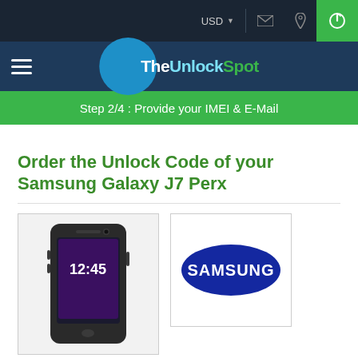USD
[Figure (logo): TheUnlockSpot website logo with hamburger menu on navy navigation bar]
Step 2/4 : Provide your IMEI & E-Mail
Order the Unlock Code of your Samsung Galaxy J7 Perx
[Figure (photo): Samsung Galaxy J7 Perx smartphone showing 12:45 on screen]
[Figure (logo): Samsung brand logo oval blue with white text]
Your phone's IMEI code*